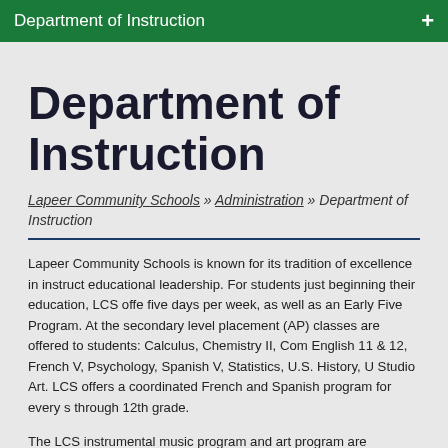Department of Instruction
Department of Instruction
Lapeer Community Schools » Administration » Department of Instruction
Lapeer Community Schools is known for its tradition of excellence in instruct educational leadership. For students just beginning their education, LCS offe five days per week, as well as an Early Five Program. At the secondary level placement (AP) classes are offered to students: Calculus, Chemistry II, Com English 11 & 12, French V, Psychology, Spanish V, Statistics, U.S. History, U Studio Art. LCS offers a coordinated French and Spanish program for every s through 12th grade.
The LCS instrumental music program and art program are recognized as bei state of Michigan. For over twenty-five years, bands from Lapeer's high scho have consistently received superior ratings at district and state band festivals school musicians from Lapeer's high schools perform at the State Solo and E from any other school district in the state. In the art program, excellence beg schools where art teachers collaborate with classroom teachers to align art le LCS art students consistently take top awards in local, state, and national ar